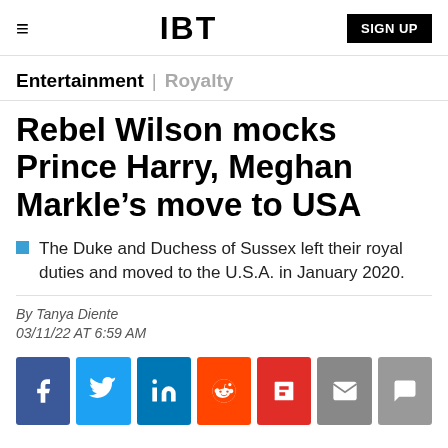IBT
Entertainment | Royalty
Rebel Wilson mocks Prince Harry, Meghan Markle’s move to USA
The Duke and Duchess of Sussex left their royal duties and moved to the U.S.A. in January 2020.
By Tanya Diente
03/11/22 AT 6:59 AM